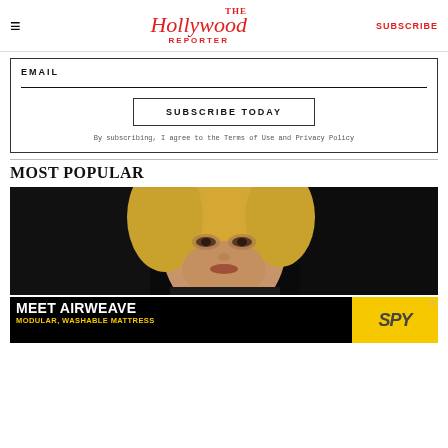The Hollywood Reporter — SUBSCRIBE
EMAIL
SUBSCRIBE TODAY
By subscribing, I agree to the Terms of Use and Privacy Policy
MOST POPULAR
[Figure (photo): Photo of a blonde woman against a dark background]
[Figure (infographic): Advertisement banner: MEET AIRWEAVE MODULAR, WASHABLE MATTRESS with SPY logo on yellow background]